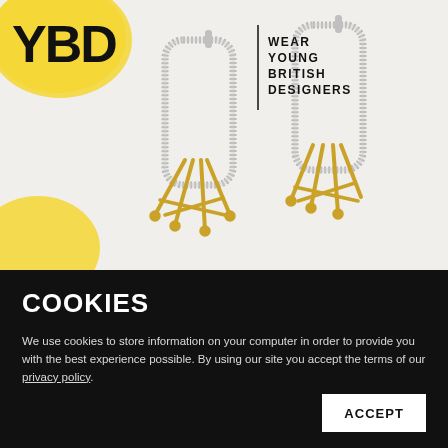[Figure (photo): Product photo of two silver and gold designer earrings on white background, with YBD (Wear Young British Designers) logo in top left corner and yellow graphic blobs.]
COOKIES
We use cookies to store information on your computer in order to provide you with the best experience possible. By using our site you accept the terms of our privacy policy.
ACCEPT